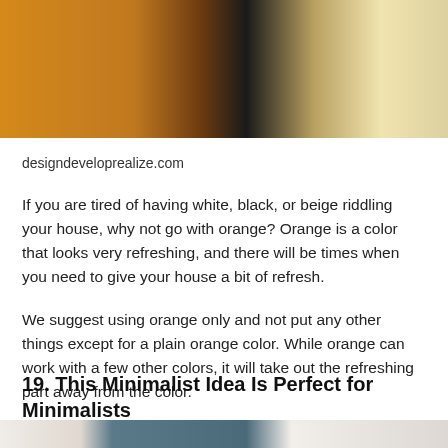[Figure (photo): Interior photo showing wooden furniture including a desk/dresser with a black office chair, and a yellow/cream patterned rug or blanket in the background]
designdeveloprealize.com
If you are tired of having white, black, or beige riddling your house, why not go with orange? Orange is a color that looks very refreshing, and there will be times when you need to give your house a bit of refresh.
We suggest using orange only and not put any other things except for a plain orange color. While orange can work with a few other colors, it will take out the refreshing part away from the color.
19. This Minimalist Idea Is Perfect for Minimalists
[Figure (photo): Interior room photo showing a minimalist space with a blue geometric wall accent and a woven pendant lamp hanging from the ceiling]